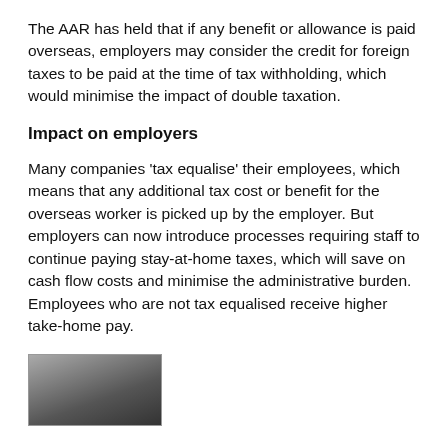The AAR has held that if any benefit or allowance is paid overseas, employers may consider the credit for foreign taxes to be paid at the time of tax withholding, which would minimise the impact of double taxation.
Impact on employers
Many companies 'tax equalise' their employees, which means that any additional tax cost or benefit for the overseas worker is picked up by the employer. But employers can now introduce processes requiring staff to continue paying stay-at-home taxes, which will save on cash flow costs and minimise the administrative burden. Employees who are not tax equalised receive higher take-home pay.
[Figure (photo): A black and white partial photograph of a person, showing the top portion of a face/head, cropped at the bottom of the page.]